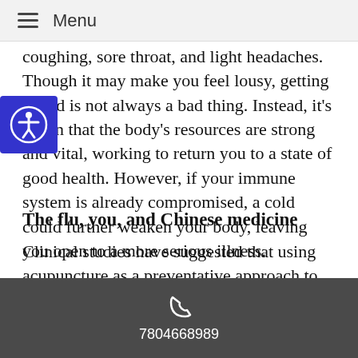Menu
coughing, sore throat, and light headaches. Though it may make you feel lousy, getting a cold is not always a bad thing. Instead, it’s a sign that the body’s resources are strong and vital, working to return you to a state of good health. However, if your immune system is already compromised, a cold could further weaken your body, leaving you open to a more serious illness.
The flu, you, and Chinese medicine
Clinical studies have suggested that using acupuncture as a preventative approach to colds and flu can reduce the incidence of upper respiratory tract infection and shorten the length of the illness. Acupuncture and Chinese medicine work by rebalancing the body’s systems, regulating the body’s healing energies and
7804668989